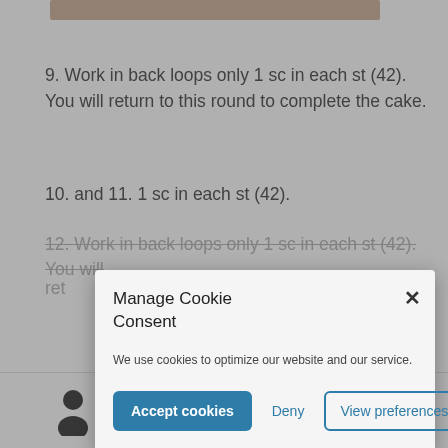[Figure (screenshot): Partial image at top of page, cropped — showing a baked cake or similar item]
9. Work in back loops only 1 sc in each st (42). You will return to this round to complete the cake.
10. and 11. 1 sc in each st (42).
12. Work in back loops only 1 sc in each st (42). You will ret...
[Figure (photo): Row of cake/crochet project photos at bottom of page, partially obscured by cookie consent modal]
Manage Cookie Consent
We use cookies to optimize our website and our service.
Accept cookies   Deny   View preferences
Person icon, Search icon, Cart icon (0)